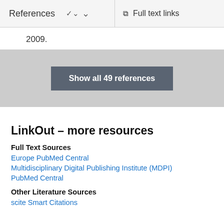References   ∨   Full text links
2009.
Show all 49 references
LinkOut – more resources
Full Text Sources
Europe PubMed Central
Multidisciplinary Digital Publishing Institute (MDPI)
PubMed Central
Other Literature Sources
scite Smart Citations